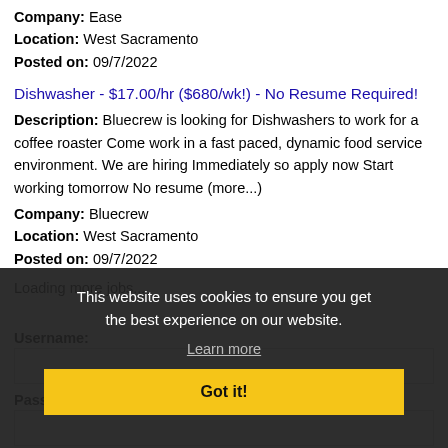Company: Ease
Location: West Sacramento
Posted on: 09/7/2022
Dishwasher - $17.00/hr ($680/wk!) - No Resume Required!
Description: Bluecrew is looking for Dishwashers to work for a coffee roaster Come work in a fast paced, dynamic food service environment. We are hiring Immediately so apply now Start working tomorrow No resume (more...)
Company: Bluecrew
Location: West Sacramento
Posted on: 09/7/2022
Loading more jobs...
This website uses cookies to ensure you get the best experience on our website.
Learn more
Got it!
Username:
Password: